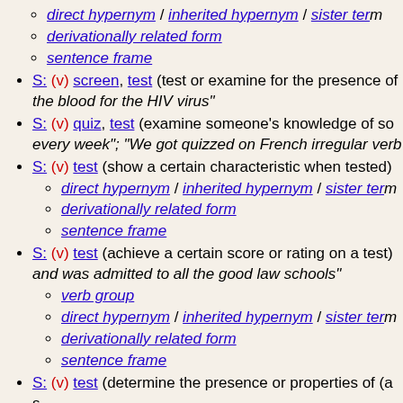sub-list items: direct hypernym / inherited hypernym / sister term, derivationally related form, sentence frame
S: (v) screen, test (test or examine for the presence of...) "...the blood for the HIV virus"
S: (v) quiz, test (examine someone's knowledge of so...) "...every week"; "We got quizzed on French irregular verb..."
S: (v) test (show a certain characteristic when tested) with sub-items: direct hypernym / inherited hypernym / sister term, derivationally related form, sentence frame
S: (v) test (achieve a certain score or rating on a test) ...and was admitted to all the good law schools" with sub-items: verb group, direct hypernym / inherited hypernym / sister term, derivationally related form, sentence frame
S: (v) test (determine the presence or properties of (a s...) with sub-items: direct hypernym / inherited hypernym / sister term, derivationally related form, sentence frame (bold), sub-sub: Somebody ----s something
S: (v) test (undergo a test) "She doesn't test well"